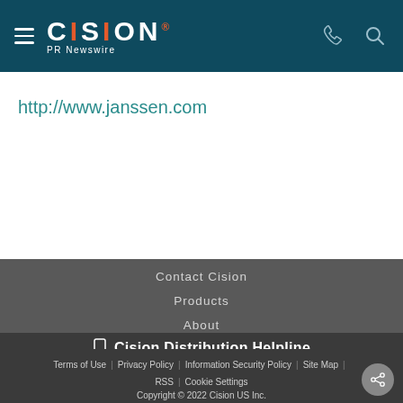[Figure (logo): Cision PR Newswire logo with hamburger menu, phone and search icons on dark teal header]
http://www.janssen.com
Contact Cision
Products
About
My Services
Cision Distribution Helpline
888-776-0942
Terms of Use | Privacy Policy | Information Security Policy | Site Map | RSS | Cookie Settings
Copyright © 2022 Cision US Inc.